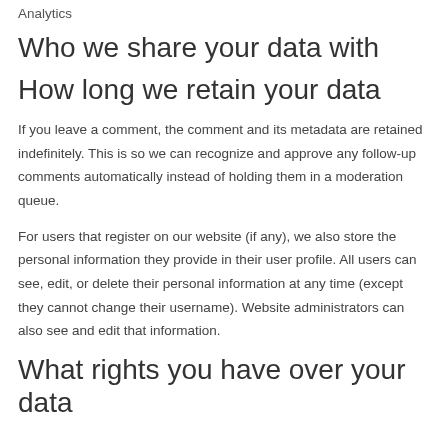Analytics
Who we share your data with
How long we retain your data
If you leave a comment, the comment and its metadata are retained indefinitely. This is so we can recognize and approve any follow-up comments automatically instead of holding them in a moderation queue.
For users that register on our website (if any), we also store the personal information they provide in their user profile. All users can see, edit, or delete their personal information at any time (except they cannot change their username). Website administrators can also see and edit that information.
What rights you have over your data